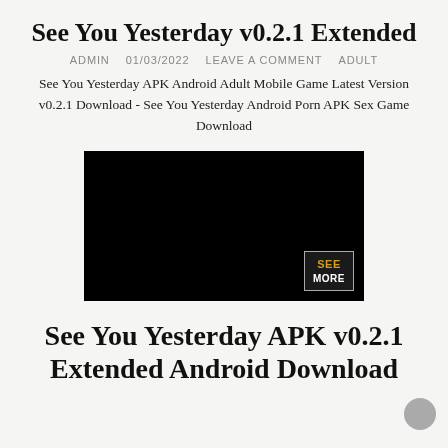See You Yesterday v0.2.1 Extended
ADMIN   01/03/2022   LEAVE A COMMENT   ADULT
See You Yesterday APK Android Adult Mobile Game Latest Version v0.2.1 Download - See You Yesterday Android Porn APK Sex Game Download
[Figure (screenshot): Black image placeholder with a 'SEE MORE' badge in the bottom right corner]
See You Yesterday APK v0.2.1 Extended Android Download